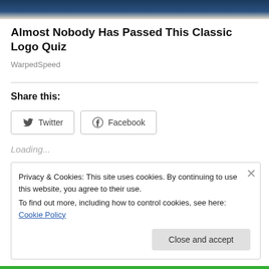[Figure (photo): Top portion of a person wearing a dark blue jacket, cropped at the top of the page]
Almost Nobody Has Passed This Classic Logo Quiz
WarpedSpeed
Share this:
[Figure (screenshot): Twitter and Facebook share buttons with icons]
Loading...
Privacy & Cookies: This site uses cookies. By continuing to use this website, you agree to their use.
To find out more, including how to control cookies, see here: Cookie Policy
Close and accept